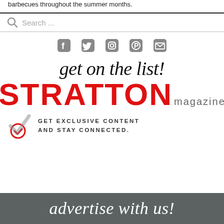barbecues throughout the summer months.
[Figure (screenshot): Search bar with magnifying glass icon and placeholder text 'Search ...']
[Figure (infographic): Social media icons: Facebook, Twitter, Instagram, Pinterest, Email (mail envelope) in gray]
[Figure (infographic): Stratton Magazine newsletter signup ad: 'get on the list!' in script, 'STRATTON magazine' logo, checkmark icon, 'GET EXCLUSIVE CONTENT AND STAY CONNECTED.']
[Figure (infographic): Bottom dark gray banner with cursive white text beginning 'advertise with us!']